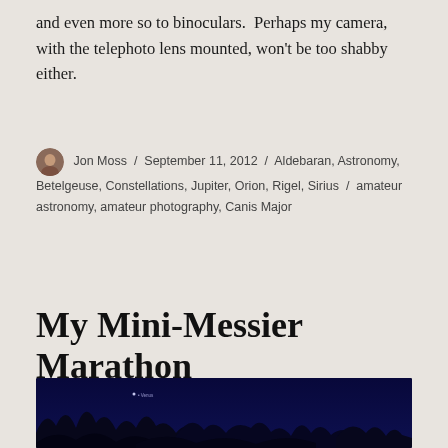and even more so to binoculars.  Perhaps my camera, with the telephoto lens mounted, won't be too shabby either.
Jon Moss / September 11, 2012 / Aldebaran, Astronomy, Betelgeuse, Constellations, Jupiter, Orion, Rigel, Sirius / amateur astronomy, amateur photography, Canis Major
My Mini-Messier Marathon
[Figure (photo): Nighttime outdoor photo showing dark silhouettes of trees and bushes against a deep blue-black sky, with a small bright dot labeled Venus in the upper left area.]